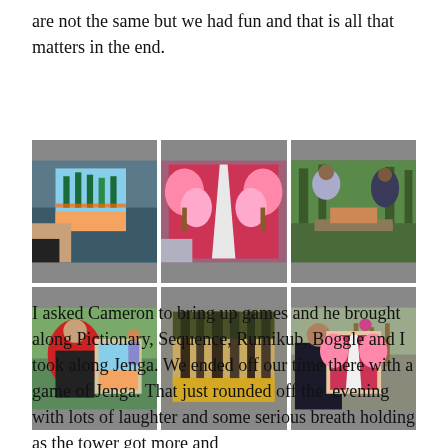are not the same but we had fun and that is all that matters in the end.
[Figure (photo): A 2x3 grid of six photos showing people painting on canvases outdoors at what appears to be a painting party or art event. Photos show paintings of trees and landscapes, including scenes with pink blossoms and fall colors. People are seen working on their paintings in an outdoor setting.]
I asked Cameron to bring up games and he brought along Pictionary, Sequence, Rumikub, Boggle and I took along Jenga. We ended off our time there with a game of Jenga. That just rounded off the  evening with lots of laughter and some serious breath holding as the tower got more and